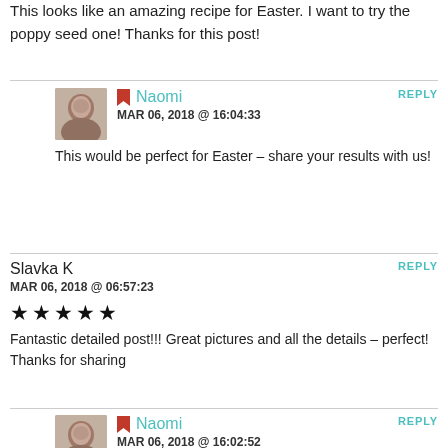This looks like an amazing recipe for Easter. I want to try the poppy seed one! Thanks for this post!
Naomi — MAR 06, 2018 @ 16:04:33 — REPLY
This would be perfect for Easter – share your results with us!
Slavka K — MAR 06, 2018 @ 06:57:23 — REPLY
★★★★★ Fantastic detailed post!!! Great pictures and all the details – perfect!
Thanks for sharing
Naomi — MAR 06, 2018 @ 16:02:52 — REPLY
Thanks so much, glad you enjoyed it!